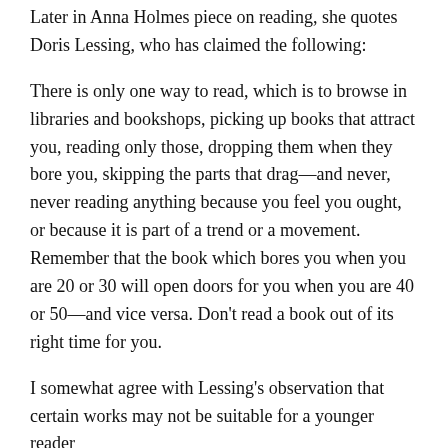Later in Anna Holmes piece on reading, she quotes Doris Lessing, who has claimed the following:
There is only one way to read, which is to browse in libraries and bookshops, picking up books that attract you, reading only those, dropping them when they bore you, skipping the parts that drag—and never, never reading anything because you feel you ought, or because it is part of a trend or a movement. Remember that the book which bores you when you are 20 or 30 will open doors for you when you are 40 or 50—and vice versa. Don't read a book out of its right time for you.
I somewhat agree with Lessing's observation that certain works may not be suitable for a younger reader